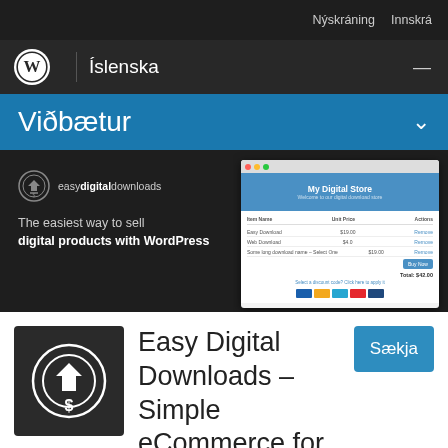Nýskráning  Innskrá
Íslenska
Viðbætur
[Figure (screenshot): Easy Digital Downloads plugin promotional banner showing logo, tagline 'The easiest way to sell digital products with WordPress', and a screenshot of a digital store checkout page]
Easy Digital Downloads – Simple eCommerce for
Sækja